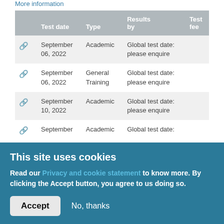More information
|  | Test date | Type | Results by | Test fee |
| --- | --- | --- | --- | --- |
| 🔗 | September 06, 2022 | Academic | Global test date: please enquire |  |
| 🔗 | September 06, 2022 | General Training | Global test date: please enquire |  |
| 🔗 | September 10, 2022 | Academic | Global test date: please enquire |  |
| 🔗 | September ... | Academic | Global test date: |  |
This site uses cookies
Read our Privacy and cookie statement to know more. By clicking the Accept button, you agree to us doing so.
Accept
No, thanks